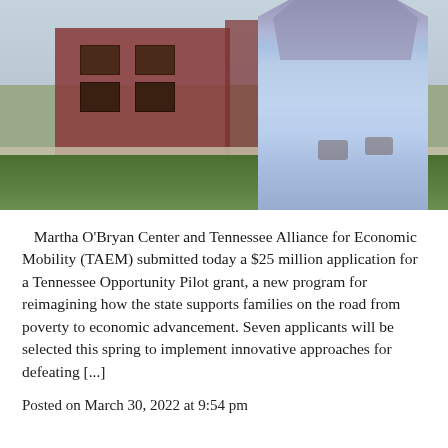[Figure (photo): Outdoor photo showing a person standing in front of a brick building, wearing a light blue t-shirt and ripped light blue jeans. Green grass and sidewalk visible in the foreground.]
Martha O'Bryan Center and Tennessee Alliance for Economic Mobility (TAEM) submitted today a $25 million application for a Tennessee Opportunity Pilot grant, a new program for reimagining how the state supports families on the road from poverty to economic advancement. Seven applicants will be selected this spring to implement innovative approaches for defeating [...]
Posted on March 30, 2022 at 9:54 pm